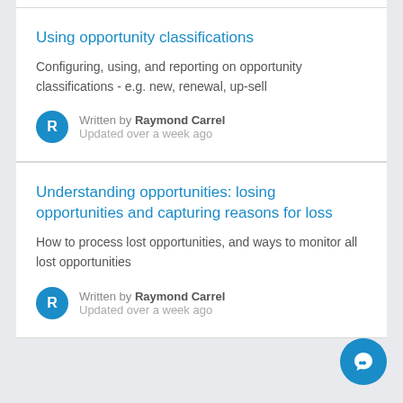Using opportunity classifications
Configuring, using, and reporting on opportunity classifications - e.g. new, renewal, up-sell
Written by Raymond Carrel
Updated over a week ago
Understanding opportunities: losing opportunities and capturing reasons for loss
How to process lost opportunities, and ways to monitor all lost opportunities
Written by Raymond Carrel
Updated over a week ago